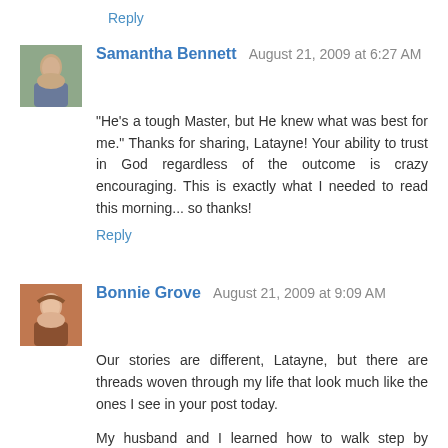Reply
Samantha Bennett  August 21, 2009 at 6:27 AM
"He's a tough Master, but He knew what was best for me." Thanks for sharing, Latayne! Your ability to trust in God regardless of the outcome is crazy encouraging. This is exactly what I needed to read this morning... so thanks!
Reply
Bonnie Grove  August 21, 2009 at 9:09 AM
Our stories are different, Latayne, but there are threads woven through my life that look much like the ones I see in your post today.
My husband and I learned how to walk step by wobbly step inside the will of God. It is a difficult place to find your bearings because - and it isn't until later you realize this, you don't see it at first - this place of God's will has nothing to do with you. It is about Him.